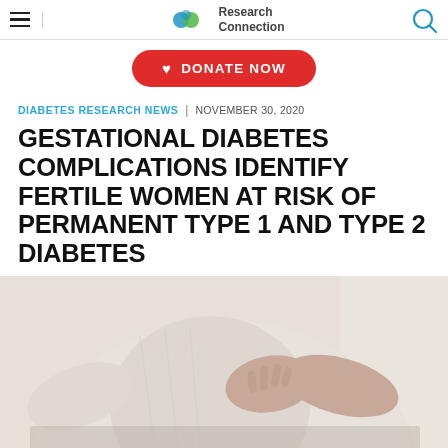Research Connection
[Figure (other): Donate Now button with heart icon, red rounded rectangle]
DIABETES RESEARCH NEWS | NOVEMBER 30, 2020
GESTATIONAL DIABETES COMPLICATIONS IDENTIFY FERTILE WOMEN AT RISK OF PERMANENT TYPE 1 AND TYPE 2 DIABETES
[Figure (photo): Close-up photo of a pregnant woman in a white sweater holding her belly with both hands]